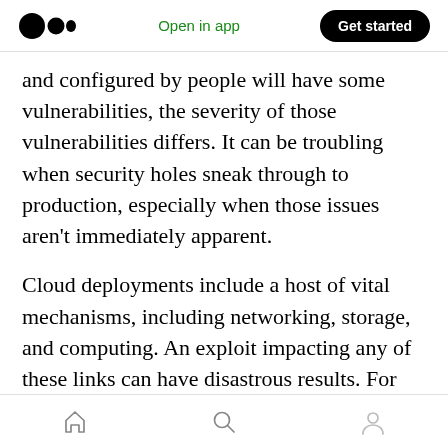Medium logo | Open in app | Get started
and configured by people will have some vulnerabilities, the severity of those vulnerabilities differs. It can be troubling when security holes sneak through to production, especially when those issues aren't immediately apparent.
Cloud deployments include a host of vital mechanisms, including networking, storage, and computing. An exploit impacting any of these links can have disastrous results. For example, data at rest resides in various storage locations,
Home | Search | Profile